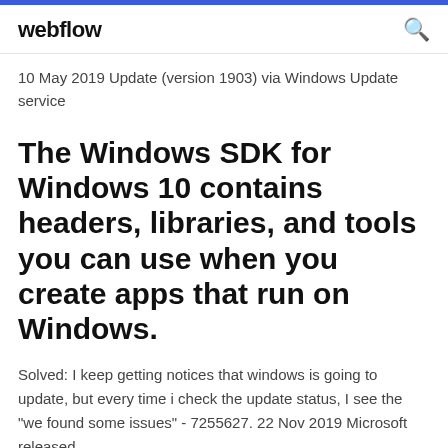webflow
10 May 2019 Update (version 1903) via Windows Update service
The Windows SDK for Windows 10 contains headers, libraries, and tools you can use when you create apps that run on Windows.
Solved: I keep getting notices that windows is going to update, but every time i check the update status, I see the "we found some issues" - 7255627. 22 Nov 2019 Microsoft released